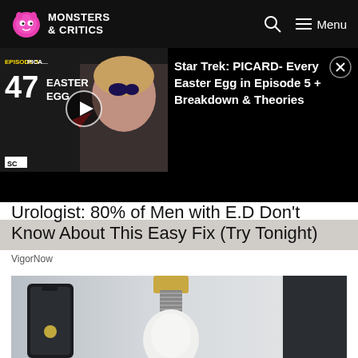MONSTERS & CRITICS
[Figure (screenshot): Video thumbnail for Star Trek: PICARD Easter Eggs Episode 5 with play button overlay]
Star Trek: PICARD- Every Easter Egg in Episode 5 + Breakdown & Theories
Urologist: 80% of Men with E.D Don't Know About This Easy Fix (Try Tonight)
VigorNow
[Figure (photo): Photo of a white light bulb screwed into a gold socket against a light wall, with a smartphone visible to the left]